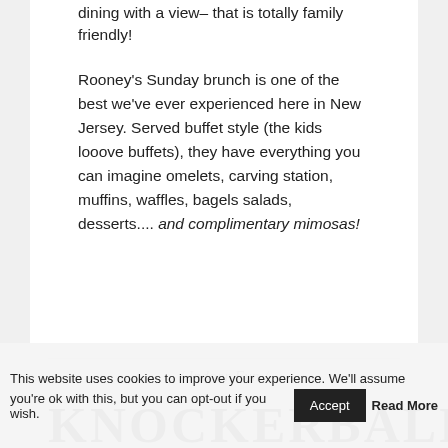dining with a view– that is totally family friendly!
Rooney's Sunday brunch is one of the best we've ever experienced here in New Jersey. Served buffet style (the kids looove buffets), they have everything you can imagine omelets, carving station, muffins, waffles, bagels salads, desserts.... and complimentary mimosas!
/ Indoor Fun /
KNOCKERBALL
This website uses cookies to improve your experience. We'll assume you're ok with this, but you can opt-out if you wish. Accept Read More